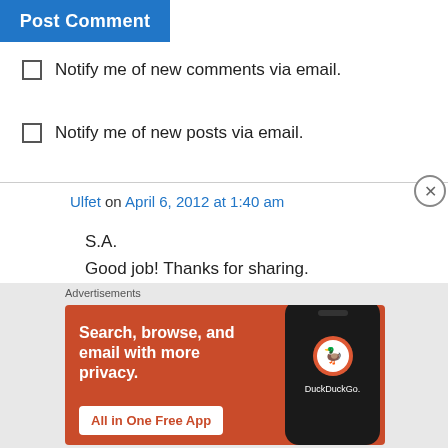Post Comment
Notify me of new comments via email.
Notify me of new posts via email.
Ulfet on April 6, 2012 at 1:40 am
S.A.
Good job! Thanks for sharing.
↳ Reply
[Figure (screenshot): DuckDuckGo advertisement banner: orange background with text 'Search, browse, and email with more privacy. All in One Free App' with DuckDuckGo logo on a phone mockup]